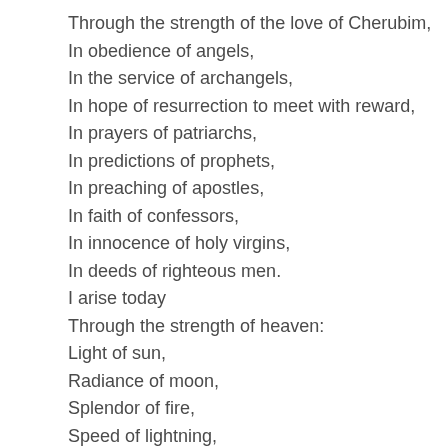Through the strength of the love of Cherubim,
In obedience of angels,
In the service of archangels,
In hope of resurrection to meet with reward,
In prayers of patriarchs,
In predictions of prophets,
In preaching of apostles,
In faith of confessors,
In innocence of holy virgins,
In deeds of righteous men.
I arise today
Through the strength of heaven:
Light of sun,
Radiance of moon,
Splendor of fire,
Speed of lightning,
Swiftness of wind,
Depth of sea,
Stability of earth,
Firmness of rock,